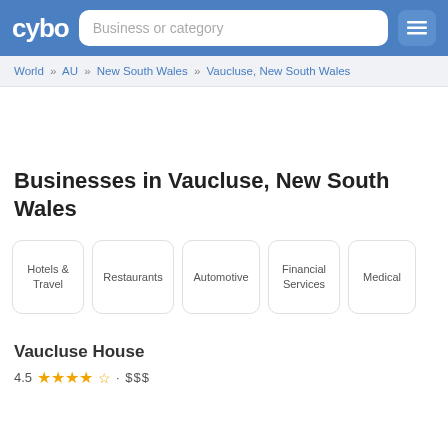cybo | Business or category
World » AU » New South Wales » Vaucluse, New South Wales
Businesses in Vaucluse, New South Wales
Hotels & Travel
Restaurants
Automotive
Financial Services
Medical
Vaucluse House
4.5 ★★★★½ · $$$